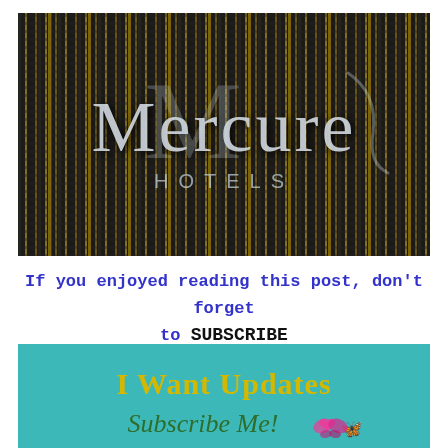[Figure (photo): Photo of the Mercure Hotels logo sign — silver/chrome lettering on a dark woven/mesh background with gold vertical stripe accents. The word 'Mercure' appears in large stylized letters with a decorative M, and 'HOTELS' in smaller spaced capitals below.]
If you enjoyed reading this post, don't forget to SUBSCRIBE
[Figure (infographic): Teal/turquoise banner with chevron pattern background. Text reads 'I Want Updates' in yellow-gold serif font, and 'Subscribe Me!' in dark green italic script font with a pink/magenta butterfly or bird icon.]